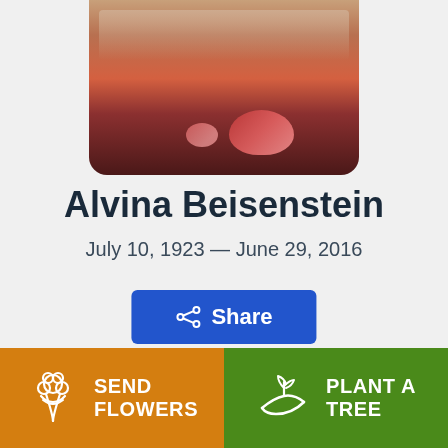[Figure (photo): Partial photo of a person, cropped at top, showing face area with red/pink floral elements, bottom portion visible with rounded corners]
Alvina Beisenstein
July 10, 1923 — June 29, 2016
Share
Obi (partially visible)
SEND FLOWERS
PLANT A TREE